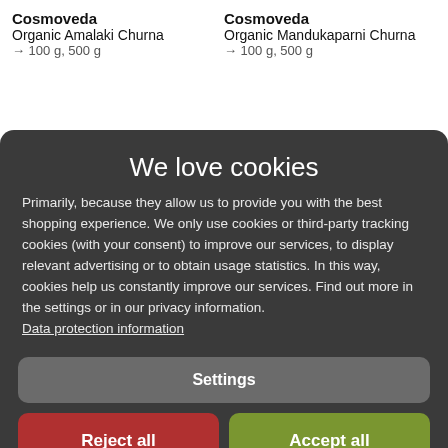Cosmoveda
Organic Amalaki Churna
→ 100 g, 500 g
Cosmoveda
Organic Mandukaparni Churna
→ 100 g, 500 g
We love cookies
Primarily, because they allow us to provide you with the best shopping experience. We only use cookies or third-party tracking cookies (with your consent) to improve our services, to display relevant advertising or to obtain usage statistics. In this way, cookies help us constantly improve our services. Find out more in the settings or in our privacy information. Data protection information
Settings
Reject all
Accept all